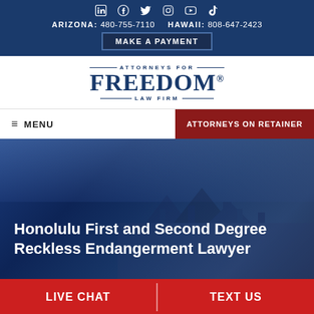ARIZONA: 480-755-7110   HAWAII: 808-647-2423
[Figure (logo): Attorneys for Freedom Law Firm logo with decorative lines]
MENU   ATTORNEYS ON RETAINER
Honolulu First and Second Degree Reckless Endangerment Lawyer
LIVE CHAT   TEXT US